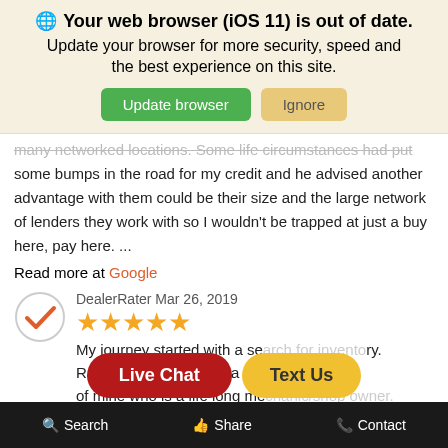🌐 Your web browser (iOS 11) is out of date. Update your browser for more security, speed and the best experience on this site.
many networked locations. Some life circumstances had put some bumps in the road for my credit and he advised another advantage with them could be their size and the large network of lenders they work with so I wouldn't be trapped at just a buy here, pay here. ...
Read more at Google
[Figure (illustration): DealerRater checkmark logo — circle with orange checkmark]
DealerRater Mar 26, 2019
★★★★★
My journey started with a search for inventory. Ray Skillman locations a d... A... of mine who is a life long mechanic/shop owner.